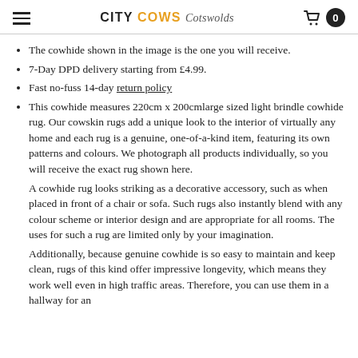CITY COWS Cotswolds
The cowhide shown in the image is the one you will receive.
7-Day DPD delivery starting from £4.99.
Fast no-fuss 14-day return policy
This cowhide measures 220cm x 200cmlarge sized light brindle cowhide rug. Our cowskin rugs add a unique look to the interior of virtually any home and each rug is a genuine, one-of-a-kind item, featuring its own patterns and colours. We photograph all products individually, so you will receive the exact rug shown here.
A cowhide rug looks striking as a decorative accessory, such as when placed in front of a chair or sofa. Such rugs also instantly blend with any colour scheme or interior design and are appropriate for all rooms. The uses for such a rug are limited only by your imagination.
Additionally, because genuine cowhide is so easy to maintain and keep clean, rugs of this kind offer impressive longevity, which means they work well even in high traffic areas. Therefore, you can use them in a hallway for an